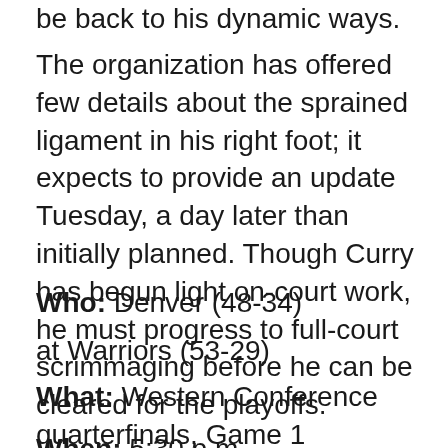be back to his dynamic ways.
The organization has offered few details about the sprained ligament in his right foot; it expects to provide an update Tuesday, a day later than initially planned. Though Curry has begun light on-court work, he must progress to full-court scrimmaging before he can be cleared for the playoffs.
Who: Denver (48-34)
at Warriors (53-29)
What: Western Conference quarterfinals, Game 1
When: 5:30 p.m.